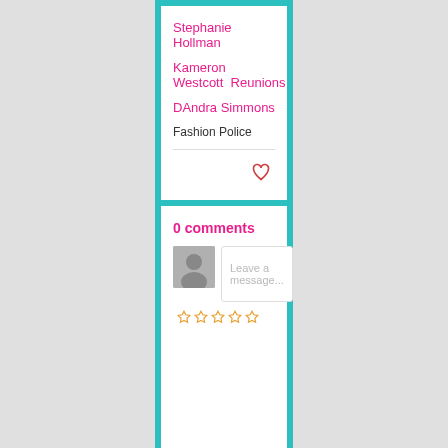Stephanie Hollman
Kameron Westcott   Reunions
DAndra Simmons
Fashion Police
0 comments
Leave a message...